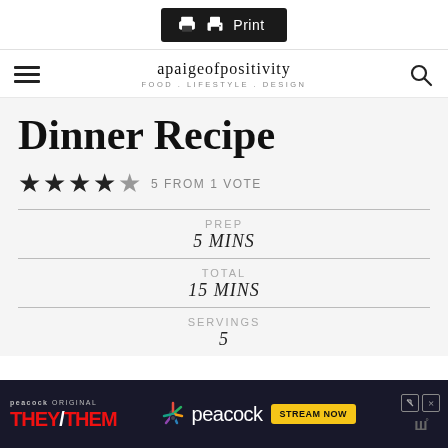Print
apaigeofpositivity FOOD . LIFESTYLE . DESIGN
Dinner Recipe
5 FROM 1 VOTE
PREP
5 MINS
TOTAL
15 MINS
SERVINGS
5
[Figure (screenshot): Ad banner for Peacock Original 'They/Them' with Stream Now button]